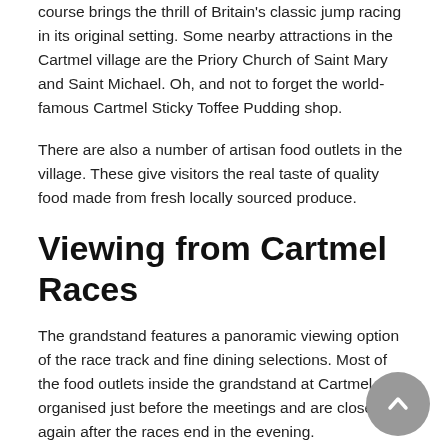course brings the thrill of Britain's classic jump racing in its original setting. Some nearby attractions in the Cartmel village are the Priory Church of Saint Mary and Saint Michael. Oh, and not to forget the world-famous Cartmel Sticky Toffee Pudding shop.
There are also a number of artisan food outlets in the village. These give visitors the real taste of quality food made from fresh locally sourced produce.
Viewing from Cartmel Races
The grandstand features a panoramic viewing option of the race track and fine dining selections. Most of the food outlets inside the grandstand at Cartmel are organised just before the meetings and are closed again after the races end in the evening.
Shops in the Cartmel village are within walking distance from the course. Many like to take a stroll to the village, which is often included as part of a typical race day.